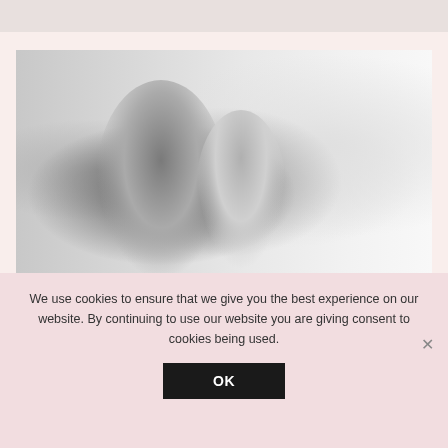[Figure (photo): Black and white photograph of a mother and young child sitting on a bed near a window. The mother is looking down at the child affectionately.]
We use cookies to ensure that we give you the best experience on our website. By continuing to use our website you are giving consent to cookies being used.
OK